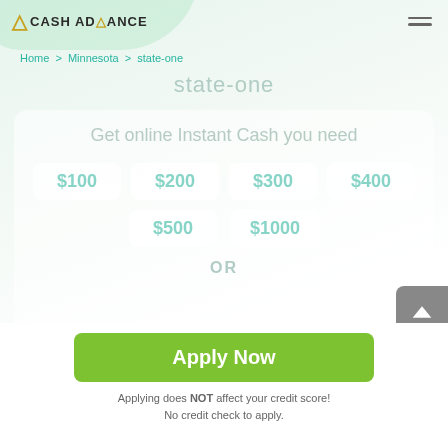CASH ADVANCE
Home > Minnesota > state-one
state-one
Get online Instant Cash you need
$100  $200  $300  $400  $500  $1000  OR
Apply Now
Applying does NOT affect your credit score! No credit check to apply.